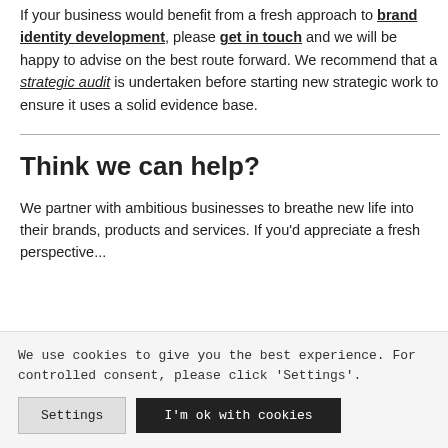If your business would benefit from a fresh approach to brand identity development, please get in touch and we will be happy to advise on the best route forward. We recommend that a strategic audit is undertaken before starting new strategic work to ensure it uses a solid evidence base.
Think we can help?
We partner with ambitious businesses to breathe new life into their brands, products and services. If you'd appreciate a fresh perspective...
We use cookies to give you the best experience. For controlled consent, please click 'Settings'.